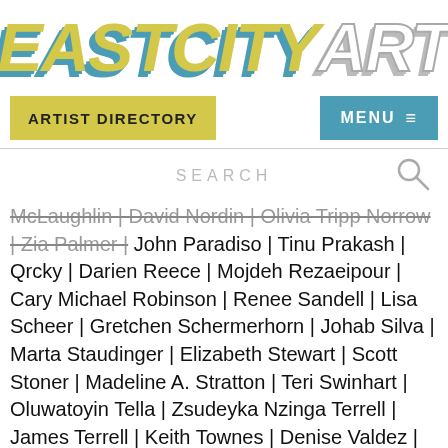[Figure (logo): EastCityArt logo in large bold italic text with yellow, teal, and white/grey letter styles]
ARTIST DIRECTORY | MENU ≡
SEARCH
McLaughlin | David Nordin | Olivia Tripp Norrow | Zia Palmer | John Paradiso | Tinu Prakash | Qrcky | Darien Reece | Mojdeh Rezaeipour | Cary Michael Robinson | Renee Sandell | Lisa Scheer | Gretchen Schermerhorn | Johab Silva | Marta Staudinger | Elizabeth Stewart | Scott Stoner | Madeline A. Stratton | Teri Swinhart | Oluwatoyin Tella | Zsudeyka Nzinga Terrell | James Terrell | Keith Townes | Denise Valdez | Steve Wanna | Will Watson | Ellyn Weiss | Tamara Wellons | Hadiya Williams | Julie Wolfe | Helen Zughaib